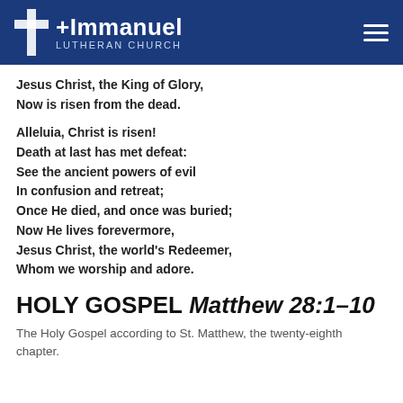Immanuel Lutheran Church
Jesus Christ, the King of Glory,
Now is risen from the dead.
Alleluia, Christ is risen!
Death at last has met defeat:
See the ancient powers of evil
In confusion and retreat;
Once He died, and once was buried;
Now He lives forevermore,
Jesus Christ, the world's Redeemer,
Whom we worship and adore.
HOLY GOSPEL Matthew 28:1–10
The Holy Gospel according to St. Matthew, the twenty-eighth chapter.